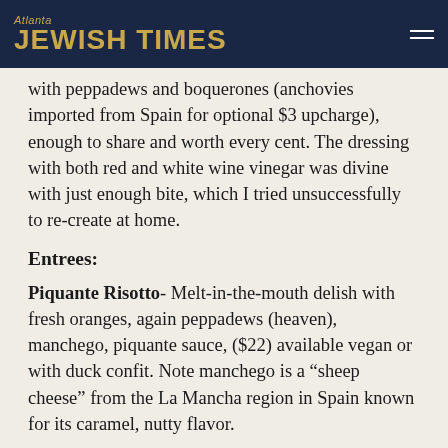Atlanta JEWISH TIMES
with peppadews and boquerones (anchovies imported from Spain for optional $3 upcharge), enough to share and worth every cent. The dressing with both red and white wine vinegar was divine with just enough bite, which I tried unsuccessfully to re-create at home.
Entrees:
Piquante Risotto- Melt-in-the-mouth delish with fresh oranges, again peppadews (heaven), manchego, piquante sauce, ($22) available vegan or with duck confit. Note manchego is a “sheep cheese” from the La Mancha region in Spain known for its caramel, nutty flavor.